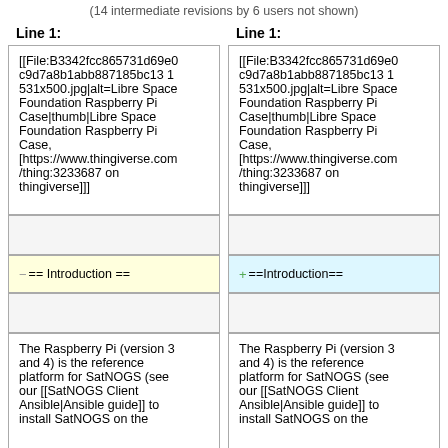(14 intermediate revisions by 6 users not shown)
| Line 1: | Line 1: |
| --- | --- |
| [[File:B3342fcc865731d69e0c9d7a8b1abb887185bc13 1 531x500.jpg|alt=Libre Space Foundation Raspberry Pi Case|thumb|Libre Space Foundation Raspberry Pi Case, [https://www.thingiverse.com/thing:3233687 on thingiverse]]] | [[File:B3342fcc865731d69e0c9d7a8b1abb887185bc13 1 531x500.jpg|alt=Libre Space Foundation Raspberry Pi Case|thumb|Libre Space Foundation Raspberry Pi Case, [https://www.thingiverse.com/thing:3233687 on thingiverse]]] |
| (blank) | (blank) |
| == Introduction == | ==Introduction== |
| (blank) | (blank) |
| The Raspberry Pi (version 3 and 4) is the reference platform for SatNOGS (see our [[SatNOGS Client Ansible|Ansible guide]] to install SatNOGS on the | The Raspberry Pi (version 3 and 4) is the reference platform for SatNOGS (see our [[SatNOGS Client Ansible|Ansible guide]] to install SatNOGS on the |